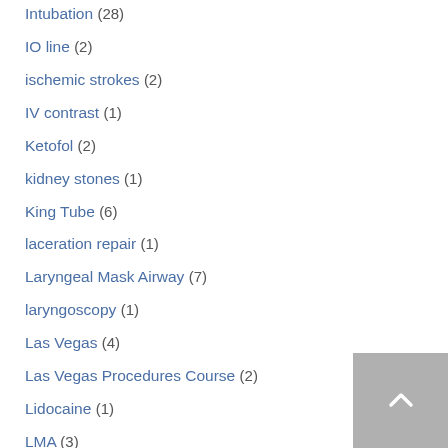Intubation (28)
IO line (2)
ischemic strokes (2)
IV contrast (1)
Ketofol (2)
kidney stones (1)
King Tube (6)
laceration repair (1)
Laryngeal Mask Airway (7)
laryngoscopy (1)
Las Vegas (4)
Las Vegas Procedures Course (2)
Lidocaine (1)
LMA (3)
Lumbar Puncture (19)
lung ultrasound (1)